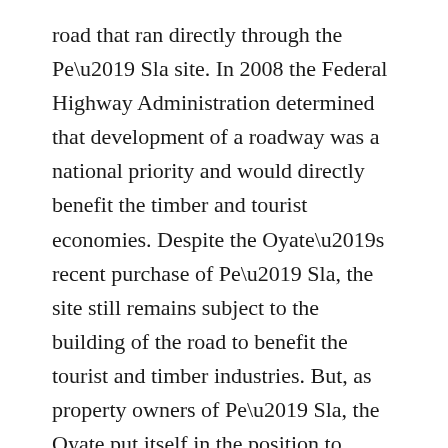road that ran directly through the Pe' Sla site. In 2008 the Federal Highway Administration determined that development of a roadway was a national priority and would directly benefit the timber and tourist economies. Despite the Oyate's recent purchase of Pe' Sla, the site still remains subject to the building of the road to benefit the tourist and timber industries. But, as property owners of Pe' Sla, the Oyate put itself in the position to protest the proposed highway development.[5]
Unsettling Colonial Property Regimes
On 12 August 2012 the Rosebud Sioux Tribal Council issued a press release stating it would “act as the